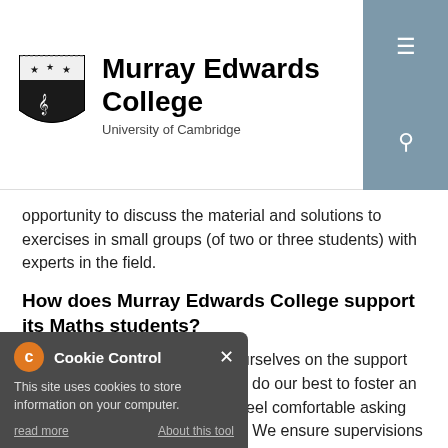[Figure (logo): Murray Edwards College, University of Cambridge logo with shield and college name]
opportunity to discuss the material and solutions to exercises in small groups (of two or three students) with experts in the field.
How does Murray Edwards College support its Maths students?
At Murray Edwards, we pride ourselves on the support we provide for our students. We do our best to foster an environment in which students feel comfortable asking questions and discussing ideas. We ensure supervisions …give our students the confidence …athematically. We have a very …nmunity of maths students and …eel is unparalleled at …kly social meetings and study